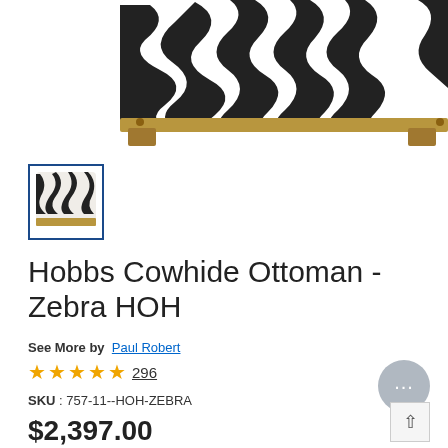[Figure (photo): Zebra-print upholstered ottoman with wooden legs, cropped product image from an e-commerce page, black and white zebra fabric pattern visible on the top and sides.]
[Figure (photo): Small thumbnail image of the same zebra-print ottoman inside a blue-bordered selection box.]
Hobbs Cowhide Ottoman - Zebra HOH
See More by Paul Robert
★★★★½ 296
SKU : 757-11--HOH-ZEBRA
$2,397.00